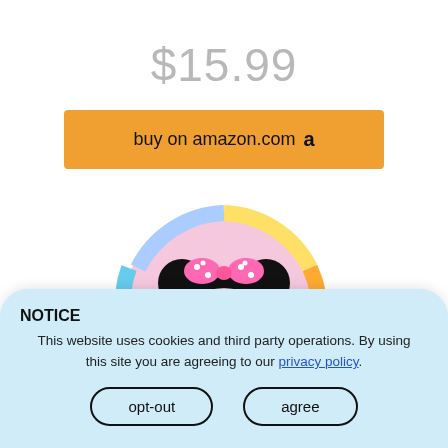$15.99
buy on amazon.com
[Figure (photo): Minnie Mouse themed paper plate with colorful rainbow border design, showing Minnie Mouse face with pink polka-dot bow]
NOTICE
This website uses cookies and third party operations. By using this site you are agreeing to our privacy policy.
opt-out
agree